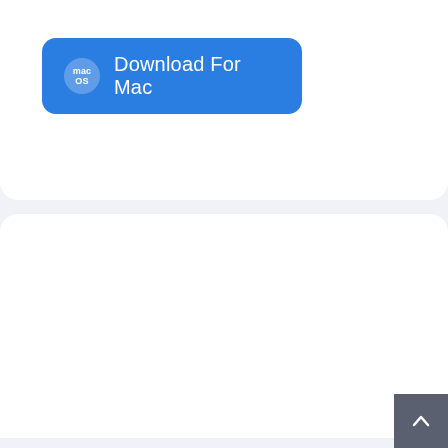[Figure (screenshot): Blue 'Download For Mac' button with macOS icon on white background]
Related Articles
Silicon Power External Hard Drive Data Recovery
Recover Lost Data from SanDisk MP3 Player with Freeware